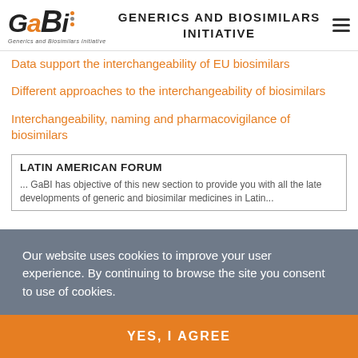GENERICS AND BIOSIMILARS INITIATIVE
Data support the interchangeability of EU biosimilars
Different approaches to the interchangeability of biosimilars
Interchangeability, naming and pharmacovigilance of biosimilars
LATIN AMERICAN FORUM
GaBI has objective of this new section to provide you with all the latest developments of generic and biosimilar medicines in Latin...
Our website uses cookies to improve your user experience. By continuing to browse the site you consent to use of cookies.
YES, I AGREE